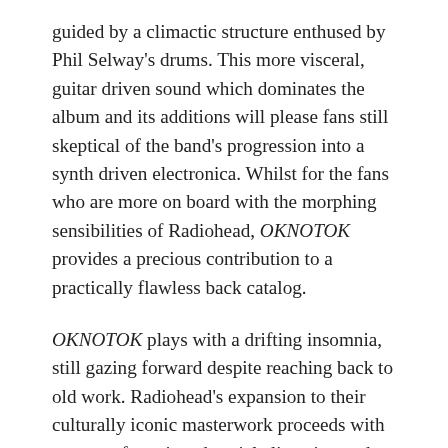guided by a climactic structure enthused by Phil Selway's drums. This more visceral, guitar driven sound which dominates the album and its additions will please fans still skeptical of the band's progression into a synth driven electronica. Whilst for the fans who are more on board with the morphing sensibilities of Radiohead, OKNOTOK provides a precious contribution to a practically flawless back catalog.
OKNOTOK plays with a drifting insomnia, still gazing forward despite reaching back to old work. Radiohead's expansion to their culturally iconic masterwork proceeds with a sense of continued social alienation and emotional distance. Quietly critical of the coming influx of consumerism, its nose pressed firmly against the outside of a shop window looking in. It's a special addition which is more than OK; it's a perfectly timed re-release which offers a viewpoint of our times as dystopic, written not in hindsight but in foresight. OKNOTOK is possibly